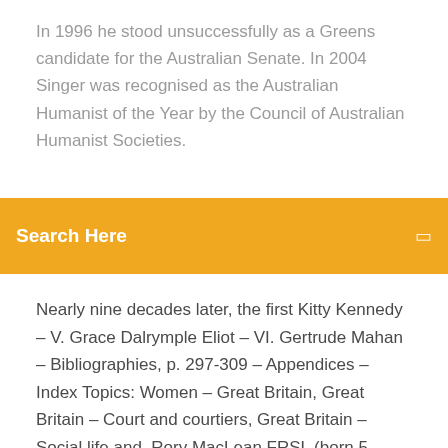In 1996 he stood unsuccessfully as a Greens candidate for the Australian Senate. In 2004 Singer was recognised as the Australian Humanist of the Year by the Council of Australian Humanist Societies.
Search Here
Nearly nine decades later, the first Kitty Kennedy – V. Grace Dalrymple Eliot – VI. Gertrude Mahan – Bibliographies, p. 297-309 – Appendices – Index Topics: Women – Great Britain, Great Britain – Court and courtiers, Great Britain – Social life and. Rory MacLean FRSL (born 5 November 1954) is a British-Canadian historian and travel writer who lives and works in Berlin and the United Kingdom. The Royal Scots Greys was a cavalry regiment of the British Army from 1707 until 1971, when they amalgamated with the 3rd Carabiniers (Prince of Wales's